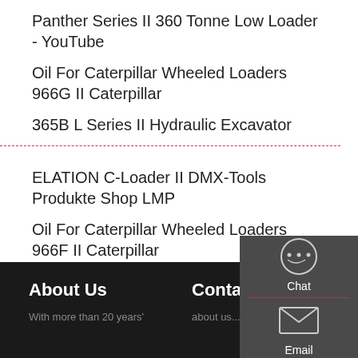Panther Series II 360 Tonne Low Loader - YouTube
Oil For Caterpillar Wheeled Loaders 966G II Caterpillar
365B L Series II Hydraulic Excavator
ELATION C-Loader II DMX-Tools Produkte Shop LMP
Oil For Caterpillar Wheeled Loaders 966F II Caterpillar
85058c - Diecast Masters CAT 365BL Series II Crawler
C-LOADER II USER GUIDE
About Us
Contact Info
With more than 20 years'
about us...